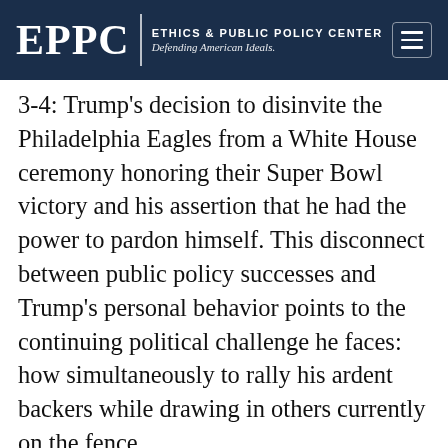EPPC | ETHICS & PUBLIC POLICY CENTER Defending American Ideals.
3-4: Trump's decision to disinvite the Philadelphia Eagles from a White House ceremony honoring their Super Bowl victory and his assertion that he had the power to pardon himself. This disconnect between public policy successes and Trump's personal behavior points to the continuing political challenge he faces: how simultaneously to rally his ardent backers while drawing in others currently on the fence.
The Eagles decision likely turned what could have been a political success into a debacle.